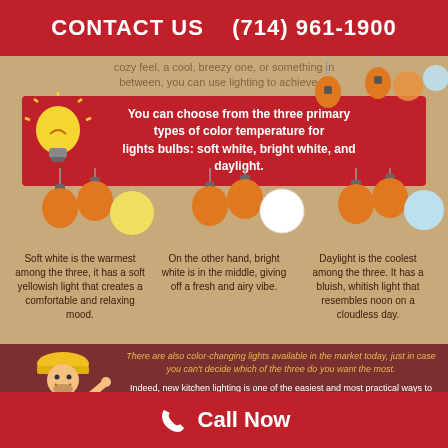CONTACT US   (714) 961-1900
cozy feel, a cool, breezy one, or something in between, you can use lighting to achieve it.
You can choose from the three primary types of color temperature for lights bulbs: soft white, bright white, and daylight.
[Figure (illustration): Three pendant lamp groups with color circles: soft white (yellow circle), bright white (white circle), daylight (blue circle)]
Soft white is the warmest among the three, it has a soft yellowish light that creates a comfortable and relaxing mood.
On the other hand, bright white is in the middle, giving off a fresh and airy vibe.
Daylight is the coolest among the three. It has a bluish, whitish light that resembles noon on a cloudless day.
There are also color-changing lights available in the market today, just in case you can't decide which of the three do you want the most.
Indeed, new kitchen lighting is one of the easiest and most practical ways to transform a kitchen. It's a source of light and aura, a space enlarger and a kitchen décor all at the same time!
GET A FREE QUOTE
Call Now